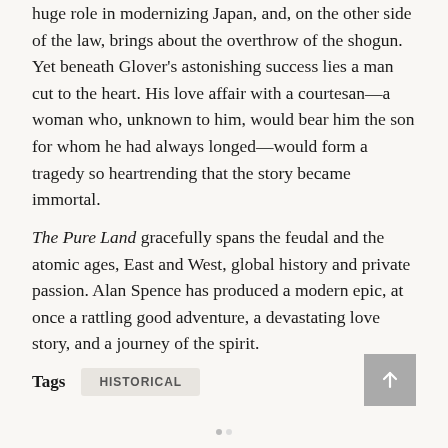huge role in modernizing Japan, and, on the other side of the law, brings about the overthrow of the shogun. Yet beneath Glover's astonishing success lies a man cut to the heart. His love affair with a courtesan—a woman who, unknown to him, would bear him the son for whom he had always longed—would form a tragedy so heartrending that the story became immortal.
The Pure Land gracefully spans the feudal and the atomic ages, East and West, global history and private passion. Alan Spence has produced a modern epic, at once a rattling good adventure, a devastating love story, and a journey of the spirit.
Tags   HISTORICAL